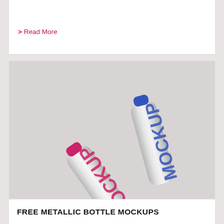> Read More
[Figure (photo): Two metallic water bottles with mockup branding - one tilted with pink cap and pink MOCKUP label, one standing with blue cap and blue MOCKUP label, on grey background]
FREE METALLIC BOTTLE MOCKUPS